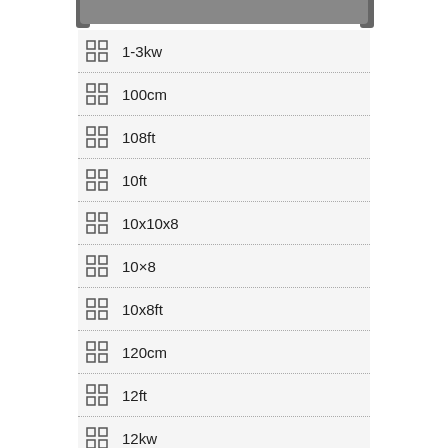1-3kw
100cm
108ft
10ft
10x10x8
10×8
10x8ft
120cm
12ft
12kw
13000w
130l
13kw
140cm